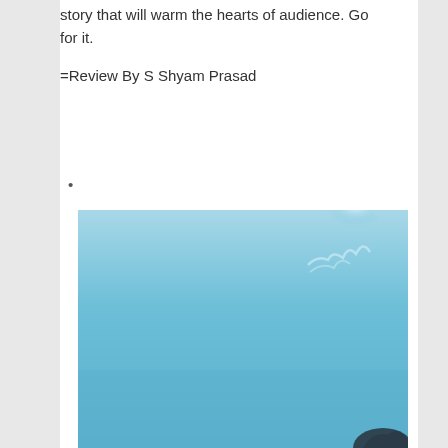story that will warm the hearts of audience. Go for it.
=Review By S Shyam Prasad
•
[Figure (photo): A blue sky/underwater scene with soft light and subtle cloud or water formations visible, with a dark silhouette partially visible at the bottom right corner.]